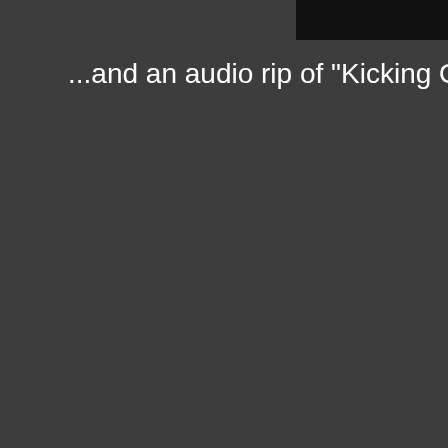[Figure (screenshot): Black bar at top of page, likely a video or media player thumbnail placeholder]
...and an audio rip of "Kicking Over Bottles":